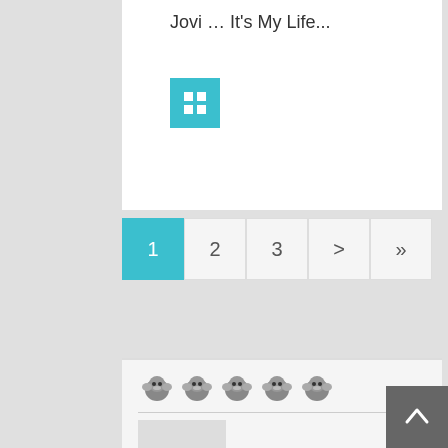Jovi … It's My Life...
[Figure (other): Teal square button with grid icon]
1  2  3  >  »
[Figure (logo): Row of five cartoon gorilla/monkey icons]
[Figure (photo): White power bank product image]
5000mAh
[Figure (photo): TOPlay product image with lock]
🔒TOPlay                    -        ~
[Figure (photo): 18650 batteries and charger product image]
18650                    Panasonic-18650    3400mAhX4